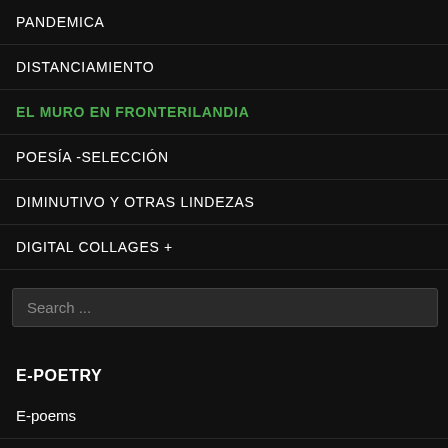PANDEMICA
DISTANCIAMIENTO
EL MURO EN FRONTERILANDIA
POESÍA -SELECCIÓN
DIMINUTIVO Y OTRAS LINDEZAS
DIGITAL COLLAGES +
Search ...
E-POETRY
E-poems
Electrónicos Pandémicos